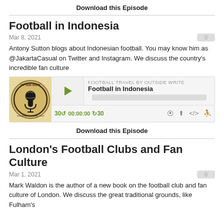Download this Episode
Football in Indonesia
Mar 8, 2021
Antony Sutton blogs about Indonesian football. You may know him as @JakartaCasual on Twitter and Instagram. We discuss the country's incredible fan culture
[Figure (screenshot): Podcast player widget showing Outside Write logo, play button, episode title 'Football in Indonesia', progress bar, and playback controls with time 00:00:00]
Download this Episode
London's Football Clubs and Fan Culture
Mar 1, 2021
Mark Waldon is the author of a new book on the football club and fan culture of London. We discuss the great traditional grounds, like Fulham's